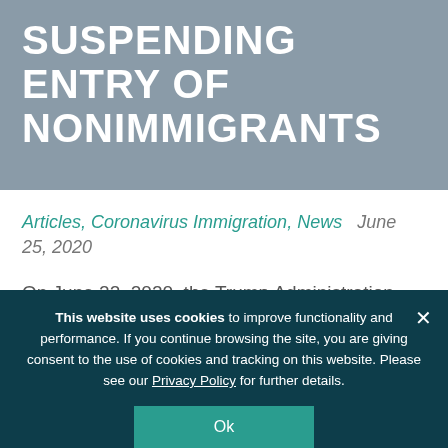SUSPENDING ENTRY OF NONIMMIGRANTS
Articles, Coronavirus Immigration, News   June 25, 2020
On June 22, 2020, the Trump Administration published a Presidential Proclamation designed to address the overall unemployment rate in the United
This website uses cookies to improve functionality and performance. If you continue browsing the site, you are giving consent to the use of cookies and tracking on this website. Please see our Privacy Policy for further details.